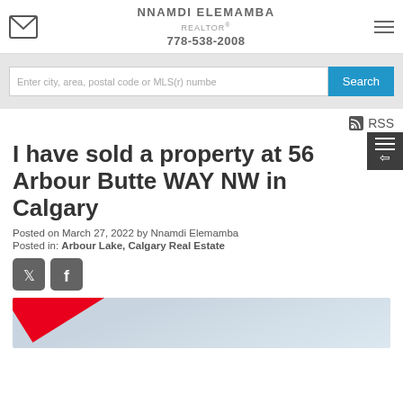NNAMDI ELEMAMBA REALTOR® 778-538-2008
Enter city, area, postal code or MLS(r) numbe
RSS
I have sold a property at 56 Arbour Butte WAY NW in Calgary
Posted on March 27, 2022 by Nnamdi Elemamba
Posted in: Arbour Lake, Calgary Real Estate
[Figure (photo): Sold property photo with red diagonal sold banner]